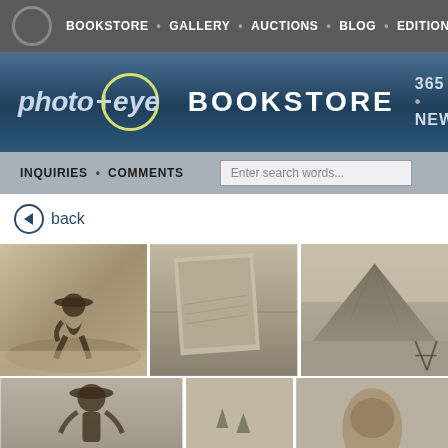BOOKSTORE • GALLERY • AUCTIONS • BLOG • EDITIONS • VI...
[Figure (logo): photo-eye BOOKSTORE logo with circular eye icon, blue gradient background, showing '365 • NEW']
INQUIRIES • COMMENTS
back
[Figure (photo): Grid of sepia-toned photographs showing: a person crouching in a field wearing a wide-brimmed hat, abstract landscape/sand images, a pyramid-like hill or mound, and partial views of other photographs below]